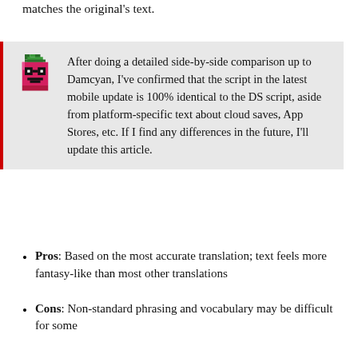matches the original's text.
After doing a detailed side-by-side comparison up to Damcyan, I've confirmed that the script in the latest mobile update is 100% identical to the DS script, aside from platform-specific text about cloud saves, App Stores, etc. If I find any differences in the future, I'll update this article.
Pros: Based on the most accurate translation; text feels more fantasy-like than most other translations
Cons: Non-standard phrasing and vocabulary may be difficult for some